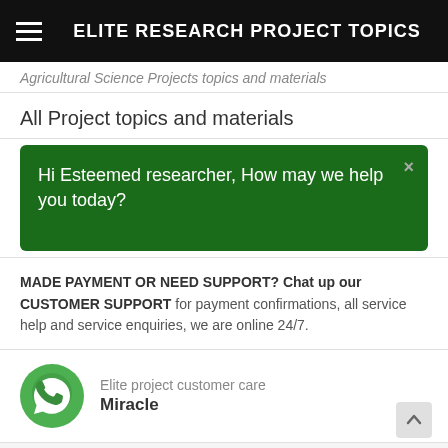ELITE RESEARCH PROJECT TOPICS
Agricultural Science Projects topics and materials
All Project topics and materials
Hi Esteemed researcher, How may we help you today?
MADE PAYMENT OR NEED SUPPORT? Chat up our CUSTOMER SUPPORT for payment confirmations, all service help and service enquiries, we are online 24/7.
Elite project customer care
Miracle
topics
ical Engineering Project Topics and materials
Civil Engineering Project topics and materials